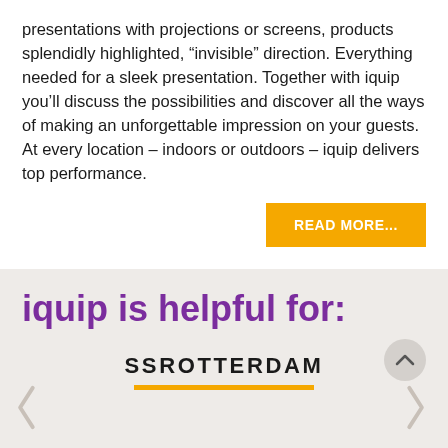presentations with projections or screens, products splendidly highlighted, “invisible” direction. Everything needed for a sleek presentation. Together with iquip you’ll discuss the possibilities and discover all the ways of making an unforgettable impression on your guests. At every location – indoors or outdoors – iquip delivers top performance.
READ MORE...
iquip is helpful for:
SSROTTERDAM